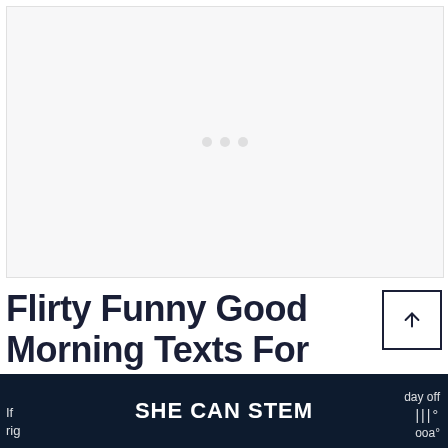[Figure (other): Placeholder image area with loading dots, light gray background]
Flirty Funny Good Morning Texts For Him
SHE CAN STEM